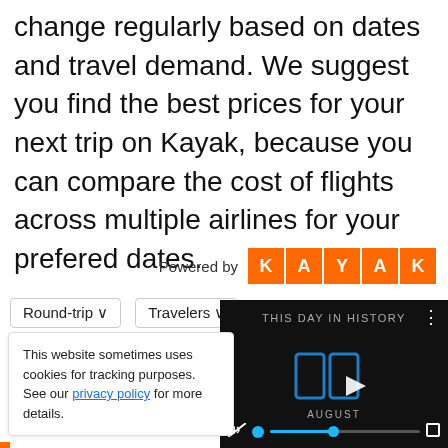Prices for flights to both Pueblo and Miami change regularly based on dates and travel demand. We suggest you find the best prices for your next trip on Kayak, because you can compare the cost of flights across multiple airlines for your prefered dates.
[Figure (logo): Powered by KAYAK logo with orange letter tiles]
Round-trip  Travelers
Washington, D.C., DC
Miami, Miami, FL
This website sometimes uses cookies for tracking purposes. See our privacy policy for more details.
[Figure (screenshot): Video overlay showing This Day In History with play controls, mute button, progress bar, and fullscreen button. August label visible.]